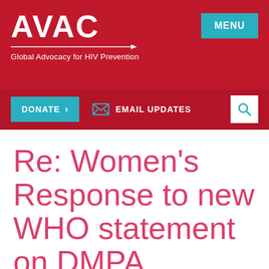AVAC — Global Advocacy for HIV Prevention
Re: Women's Response to new WHO statement on DMPA
A PDF version of this letter is available for download.